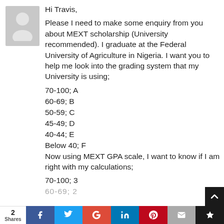[Figure (illustration): Gray placeholder avatar silhouette of a person]
Hi Travis,
Please I need to make some enquiry from you about MEXT scholarship (University recommended). I graduate at the Federal University of Agriculture in Nigeria. I want you to help me look into the grading system that my University is using;
70-100; A
60-69; B
50-59; C
45-49; D
40-44; E
Below 40; F
Now using MEXT GPA scale, I want to know if I am right with my calculations;
70-100; 3
60-69; 2
2 Shares  [Facebook] [Twitter] [Google+] [LinkedIn] [Pinterest] [Email] [Bookmark]